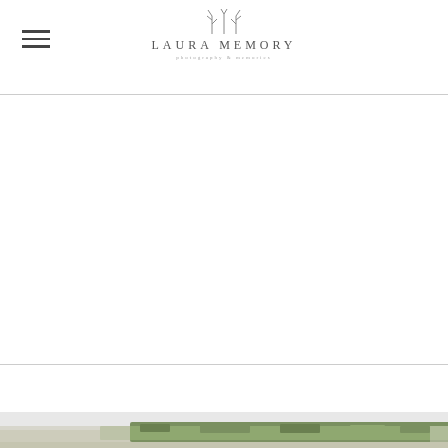LAURA MEMORY — Photography & Memories
[Figure (logo): Laura Memory logo with botanical icon above the brand name, subtext below]
[Figure (photo): Narrow horizontal strip of a landscape field with green and muted tones, appearing at the very bottom of the page]